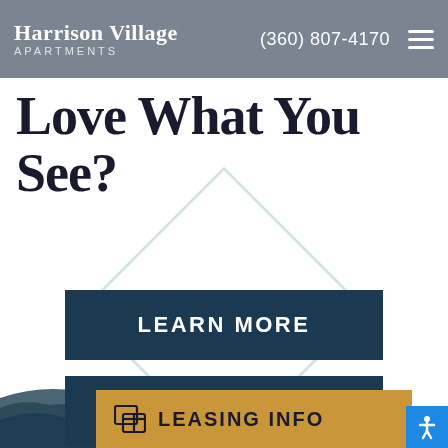Harrison Village APARTMENTS  (360) 807-4170
Love What You See?
[Figure (illustration): Diamond/rhombus outline shape in light teal/mint color as decorative background element behind the buttons]
LEARN MORE
CONTACT US
LEASING INFO